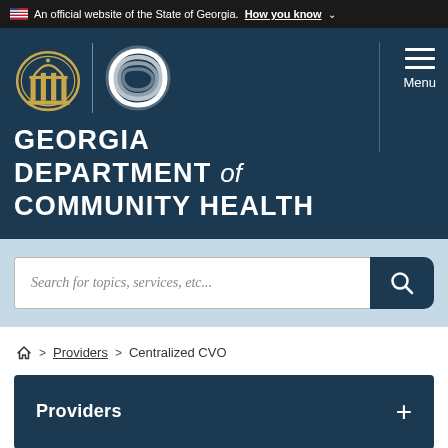An official website of the State of Georgia. How you know
[Figure (logo): Georgia Department of Community Health logo with state seal and swirl graphic, with hamburger menu icon on the right]
GEORGIA DEPARTMENT of COMMUNITY HEALTH
Search for topics, services, etc...
Home > Providers > Centralized CVO
Providers